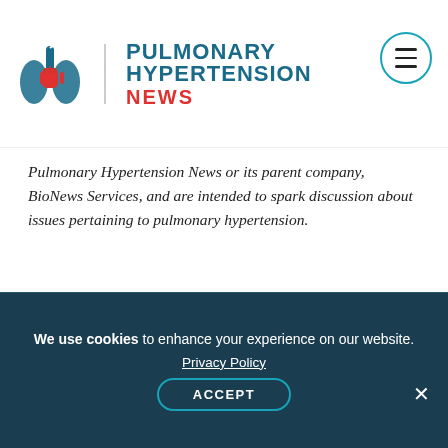Pulmonary Hypertension News
Pulmonary Hypertension News or its parent company, BioNews Services, and are intended to spark discussion about issues pertaining to pulmonary hypertension.
Print This Page
About the Author
Colleen Steele Colleen was born and raised in New Jersey, and
We use cookies to enhance your experience on our website. Privacy Policy ACCEPT